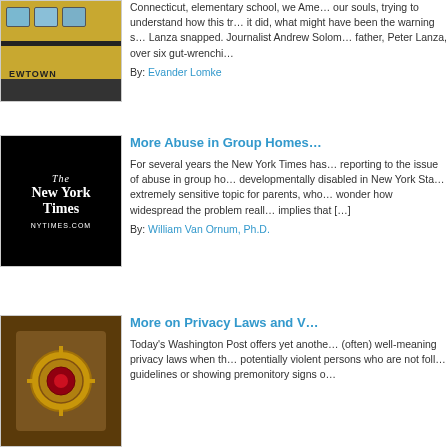[Figure (photo): Yellow school bus with NEWTOWN text visible, children visible through windows]
Connecticut, elementary school, we Ame… our souls, trying to understand how this tr… it did, what might have been the warning s… Lanza snapped. Journalist Andrew Solom… father, Peter Lanza, over six gut-wrenchi…
By: Evander Lomke
[Figure (logo): The New York Times logo on black background with NYTIMES.COM text]
More Abuse in Group Homes
For several years the New York Times has… reporting to the issue of abuse in group ho… developmentally disabled in New York Sta… extremely sensitive topic for parents, who… wonder how widespread the problem reall… implies that […]
By: William Van Ornum, Ph.D.
[Figure (photo): Gold and red vault door or safe lock mechanism]
More on Privacy Laws and V…
Today's Washington Post offers yet anothe… (often) well-meaning privacy laws when th… potentially violent persons who are not foll… guidelines or showing premonitory signs o…